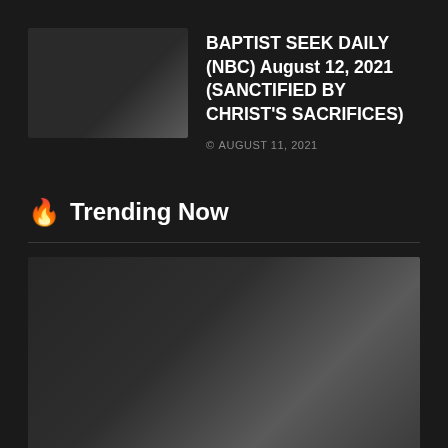[Figure (photo): Dark thumbnail image with gradient]
BAPTIST SEEK DAILY (NBC) August 12, 2021 (SANCTIFIED BY CHRIST'S SACRIFICES)
© AUGUST 11, 2021
🔥 Trending Now
[Figure (photo): Dark trending image with gradient]